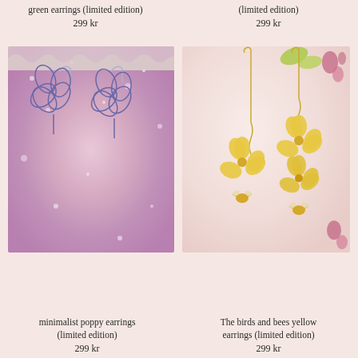green earrings (limited edition)
299 kr
(limited edition)
299 kr
[Figure (photo): Close-up photo of minimalist poppy wire earrings hanging against a shimmery pink glitter background with lace detail at top]
[Figure (photo): Photo of birds and bees yellow earrings with gold bee charms and yellow flower petals on a soft pink background with rose buds]
minimalist poppy earrings (limited edition)
299 kr
The birds and bees yellow earrings (limited edition)
299 kr